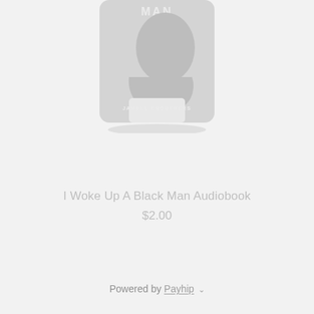[Figure (illustration): A book cover showing a silhouette of a man's head in profile against a light gray rounded rectangle background, with text 'MAN' at the top and 'JAMELL CROUTHERS' at the bottom. The entire image appears faded/gray.]
I Woke Up A Black Man Audiobook
$2.00
Powered by Payhip